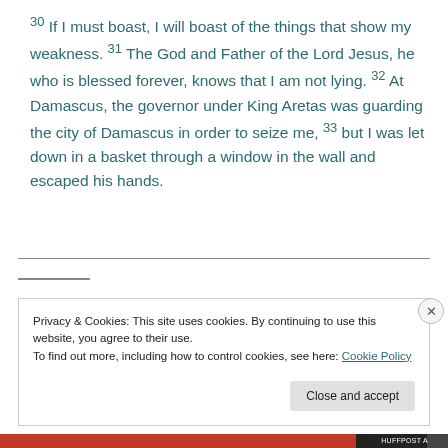30 If I must boast, I will boast of the things that show my weakness. 31 The God and Father of the Lord Jesus, he who is blessed forever, knows that I am not lying. 32 At Damascus, the governor under King Aretas was guarding the city of Damascus in order to seize me, 33 but I was let down in a basket through a window in the wall and escaped his hands.
Privacy & Cookies: This site uses cookies. By continuing to use this website, you agree to their use. To find out more, including how to control cookies, see here: Cookie Policy